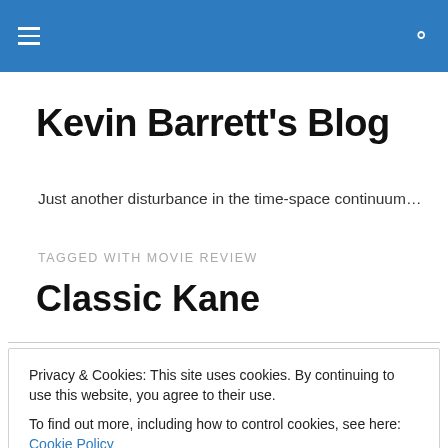Kevin Barrett's Blog [header navigation bar]
Kevin Barrett's Blog
Just another disturbance in the time-space continuum…
TAGGED WITH MOVIE REVIEW
Classic Kane
Privacy & Cookies: This site uses cookies. By continuing to use this website, you agree to their use.
To find out more, including how to control cookies, see here: Cookie Policy
Close and accept